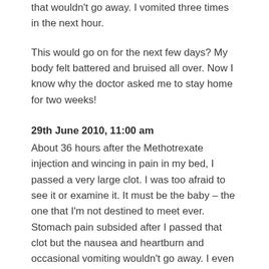that wouldn't go away. I vomited three times in the next hour.
This would go on for the next few days? My body felt battered and bruised all over. Now I know why the doctor asked me to stay home for two weeks!
29th June 2010, 11:00 am
About 36 hours after the Methotrexate injection and wincing in pain in my bed, I passed a very large clot. I was too afraid to see it or examine it. It must be the baby – the one that I'm not destined to meet ever. Stomach pain subsided after I passed that clot but the nausea and heartburn and occasional vomiting wouldn't go away. I even lost all my appetite.
This must certainly feel worse than giving birth to